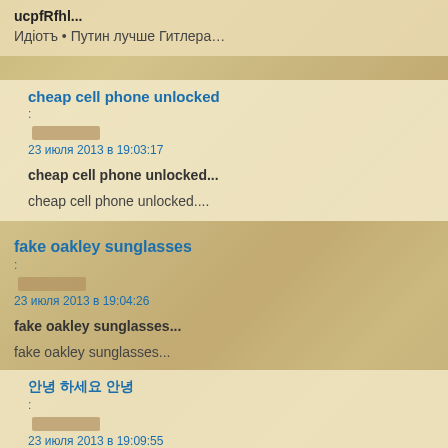ucpfRfhl...
Идіотъ • Путин лучше Гитлера…
cheap cell phone unlocked
23 июля 2013 в 19:03:17
cheap cell phone unlocked...
cheap cell phone unlocked....
fake oakley sunglasses
23 июля 2013 в 19:04:26
fake oakley sunglasses...
fake oakley sunglasses...
안녕 하세요 안녕
23 июля 2013 в 19:09:55
안녕 하세요 안녕...
안녕 하세요...